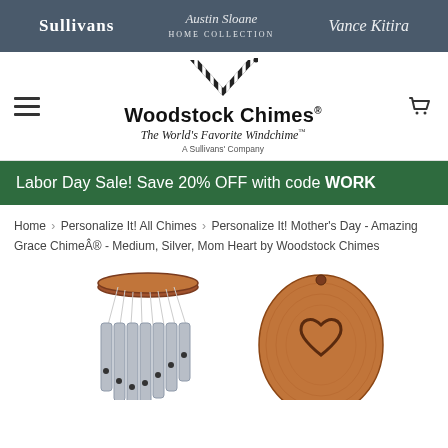Sullivans | Austin Sloane Home Collection | Vance Kitira
[Figure (logo): Woodstock Chimes logo with striped W icon, brand name, tagline 'The World's Favorite Windchime', subtitle 'A Sullivans Company']
Labor Day Sale! Save 20% OFF with code WORK
Home › Personalize It! All Chimes › Personalize It! Mother's Day - Amazing Grace Chime® - Medium, Silver, Mom Heart by Woodstock Chimes
[Figure (photo): Product photo showing a silver wind chime with wooden top ring on the left, and a wooden oval windcatcher with heart engraving on the right]